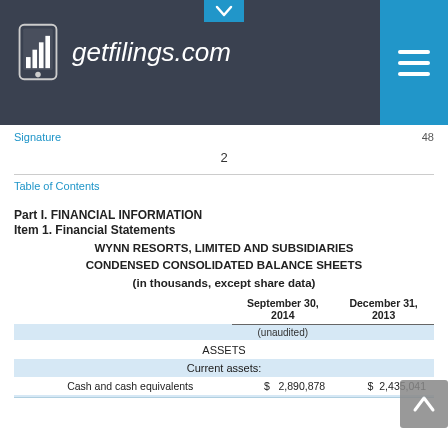getfilings.com
Signature  48
2
Table of Contents
Part I. FINANCIAL INFORMATION
Item 1. Financial Statements
WYNN RESORTS, LIMITED AND SUBSIDIARIES
CONDENSED CONSOLIDATED BALANCE SHEETS
(in thousands, except share data)
|  | September 30, 2014 (unaudited) | December 31, 2013 |
| --- | --- | --- |
| ASSETS |  |  |
| Current assets: |  |  |
| Cash and cash equivalents | $ 2,890,878 | $ 2,435,041 |